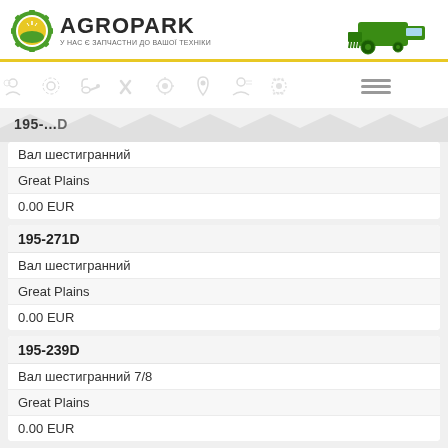[Figure (logo): Agropark logo with gear/leaf icon and combine harvester image on the right]
[Figure (infographic): Navigation icons row: globe/users, settings, tractor, tools, target, location pin, group, target stars]
195-..D (partial, cut off)
Вал шестигранний
Great Plains
0.00 EUR
195-271D
Вал шестигранний
Great Plains
0.00 EUR
195-239D
Вал шестигранний 7/8
Great Plains
0.00 EUR